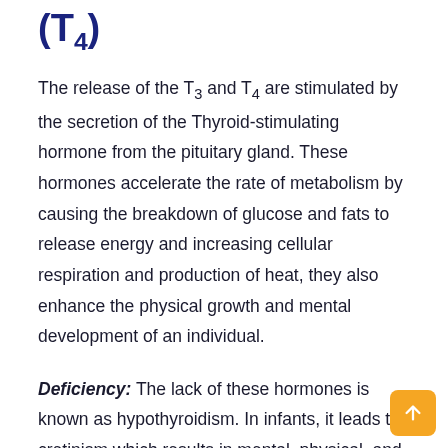(T4)
The release of the T3 and T4 are stimulated by the secretion of the Thyroid-stimulating hormone from the pituitary gland. These hormones accelerate the rate of metabolism by causing the breakdown of glucose and fats to release energy and increasing cellular respiration and production of heat, they also enhance the physical growth and mental development of an individual.
Deficiency: The lack of these hormones is known as hypothyroidism. In infants, it leads to cretinism which results in mental, physical, and sexual retardation. In adults, however, it results in a decrease in the rate of metabolism, goiter, a significant drop in body temperature and weight gain since less food is respired.